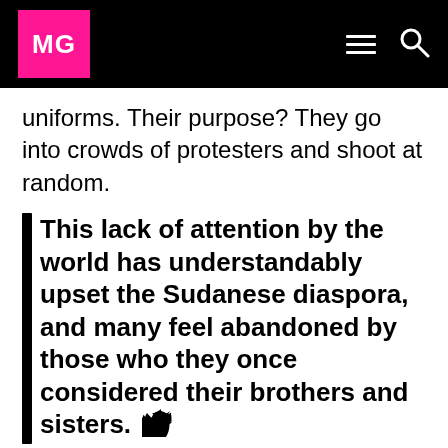MG
uniforms. Their purpose? They go into crowds of protesters and shoot at random.
This lack of attention by the world has understandably upset the Sudanese diaspora, and many feel abandoned by those who they once considered their brothers and sisters.
Even people who don’t actively go out onto the streets are not safe from the wrath of the government. My own relative, a young doctor at